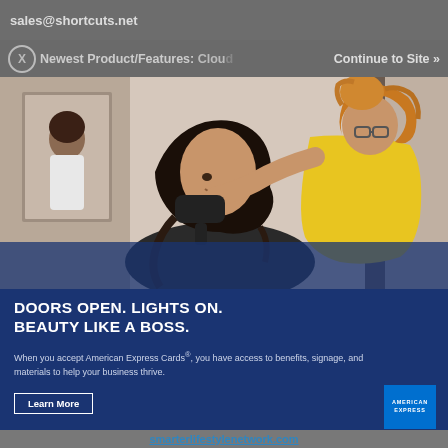sales@shortcuts.net
Newest Product/Features: Cloud  Continue to Site »
[Figure (photo): A hair salon scene showing a hairstylist in a yellow shirt styling a client's hair with a blow dryer. A woman is visible in the background near a mirror.]
DOORS OPEN. LIGHTS ON. BEAUTY LIKE A BOSS.
When you accept American Express Cards®, you have access to benefits, signage, and materials to help your business thrive.
Learn More
smarterlifestylenetwork.com